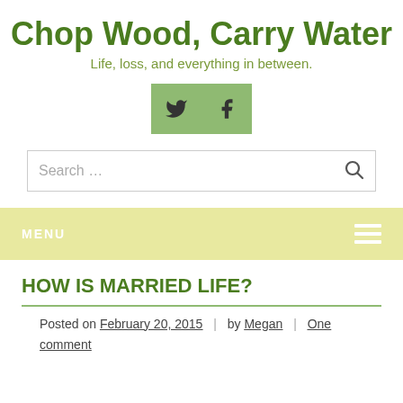Chop Wood, Carry Water
Life, loss, and everything in between.
[Figure (illustration): Two social media icon buttons (Twitter bird and Facebook f) in green squares side by side]
Search ...
MENU
HOW IS MARRIED LIFE?
Posted on February 20, 2015 | by Megan | One comment